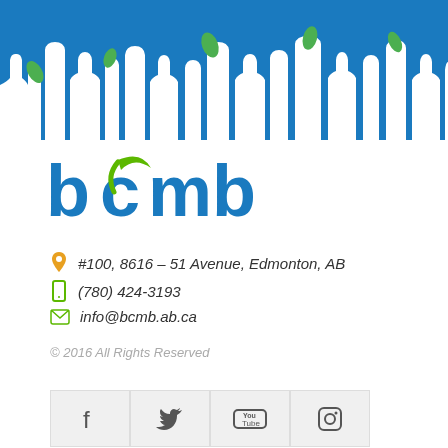[Figure (illustration): Blue banner with white silhouette of bottles and recycling-themed skyline with green leaves]
[Figure (logo): bcmb logo in blue with green leaf replacing c, company name in stylized text]
#100, 8616 – 51 Avenue, Edmonton, AB
(780) 424-3193
info@bcmb.ab.ca
© 2016 All Rights Reserved
[Figure (other): Social media icon buttons: Facebook, Twitter, YouTube, Instagram]
[Figure (map): Google Maps screenshot showing location near 51 Avenue, Edmonton, with Worley Canada and House of Wheels Ltd visible]